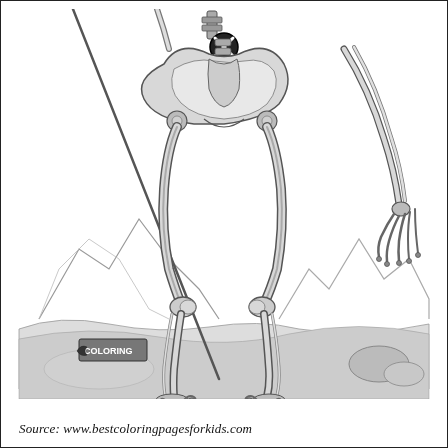[Figure (illustration): Black and white engraving/illustration of a human skeleton (lower half visible — pelvis, legs, feet) standing upright in a landscape with mountains in the background. The skeleton holds a long staff or pole with the left arm. A detached arm with hand bones is visible at upper right. A watermark/logo appears at lower left. A circular X symbol watermark appears on the pelvis area and upper center.]
Source: www.bestcoloringpagesforkids.com